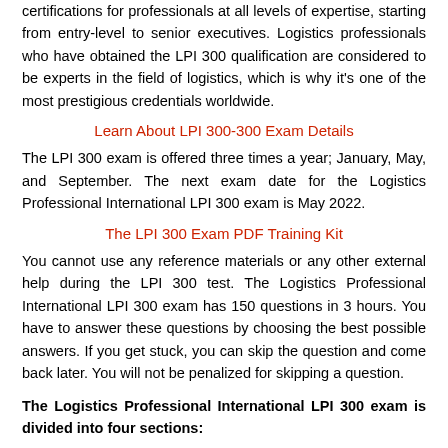certifications for professionals at all levels of expertise, starting from entry-level to senior executives. Logistics professionals who have obtained the LPI 300 qualification are considered to be experts in the field of logistics, which is why it's one of the most prestigious credentials worldwide.
Learn About LPI 300-300 Exam Details
The LPI 300 exam is offered three times a year; January, May, and September. The next exam date for the Logistics Professional International LPI 300 exam is May 2022.
The LPI 300 Exam PDF Training Kit
You cannot use any reference materials or any other external help during the LPI 300 test. The Logistics Professional International LPI 300 exam has 150 questions in 3 hours. You have to answer these questions by choosing the best possible answers. If you get stuck, you can skip the question and come back later. You will not be penalized for skipping a question.
The Logistics Professional International LPI 300 exam is divided into four sections:
· Section 1: Planning and Negotiation